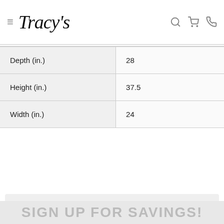Tracy's [navigation bar with hamburger menu, search, cart, and phone icons]
| Depth (in.) | 28 |
| Height (in.) | 37.5 |
| Width (in.) | 24 |
⚠ Proposition 65 Warning for California Residents
Learn More
SIGN UP FOR SAVINGS!